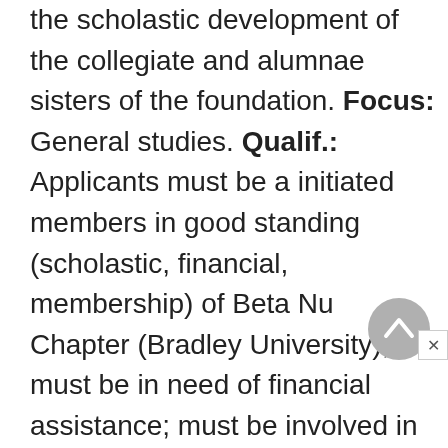Purpose: To encourage and support the scholastic development of the collegiate and alumnae sisters of the foundation. Focus: General studies. Qualif.: Applicants must be a initiated members in good standing (scholastic, financial, membership) of Beta Nu Chapter (Bradley University); must be in need of financial assistance; must be involved in Sigma Kappa and the Bradley University campus. Criteria: Applicants will be judge based on their active participation in a variety of the foundation and or organizations...